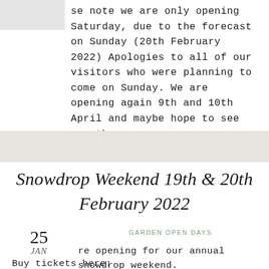[Figure (photo): Grey image placeholder in top left corner]
se note we are only opening Saturday, due to the forecast on Sunday (20th February 2022) Apologies to all of our visitors who were planning to come on Sunday. We are opening again 9th and 10th April and maybe hope to see you then.
Snowdrop Weekend 19th & 20th February 2022
25 JAN
GARDEN OPEN DAYS
re opening for our annual snowdrop weekend.
Buy tickets here: